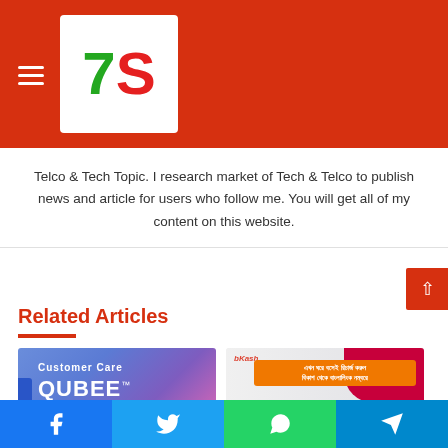[Figure (logo): 7S logo with hamburger menu on red background header bar]
Telco & Tech Topic. I research market of Tech & Telco to publish news and article for users who follow me. You will get all of my content on this website.
Related Articles
[Figure (photo): Qubee Customer Care advertisement image with purple/blue gradient background]
[Figure (photo): bKash recharge advertisement image]
[Figure (infographic): Share bar with Facebook, Twitter, WhatsApp, Telegram icons]